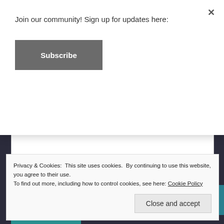Join our community! Sign up for updates here:
Subscribe
[Figure (screenshot): Text area input box for comment entry, with resize handle at bottom right]
Name *
Privacy & Cookies: This site uses cookies. By continuing to use this website, you agree to their use. To find out more, including how to control cookies, see here: Cookie Policy
Close and accept